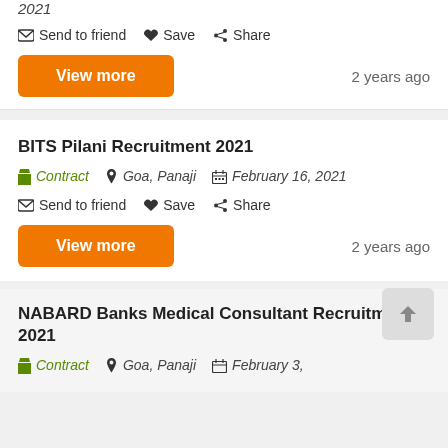2021
Send to friend  Save  Share
View more   2 years ago
BITS Pilani Recruitment 2021
Contract   Goa, Panaji   February 16, 2021
Send to friend  Save  Share
View more   2 years ago
NABARD Banks Medical Consultant Recruitment 2021
Contract   Goa, Panaji   February 3, 2021